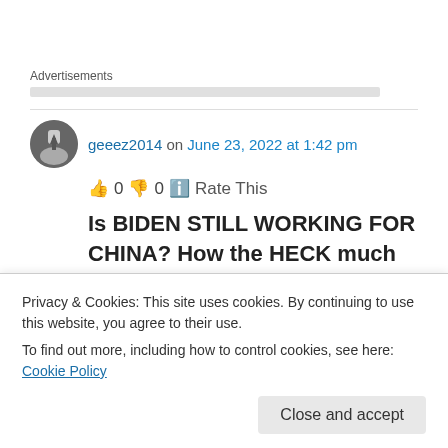Advertisements
geeez2014 on June 23, 2022 at 1:42 pm
👍 0 👎 0 ℹ Rate This
Is BIDEN STILL WORKING FOR CHINA? How the HECK much worse can he get? AND WHO'S STANDING UP TO THIS?????? NO WONDER
Privacy & Cookies: This site uses cookies. By continuing to use this website, you agree to their use.
To find out more, including how to control cookies, see here: Cookie Policy
Close and accept